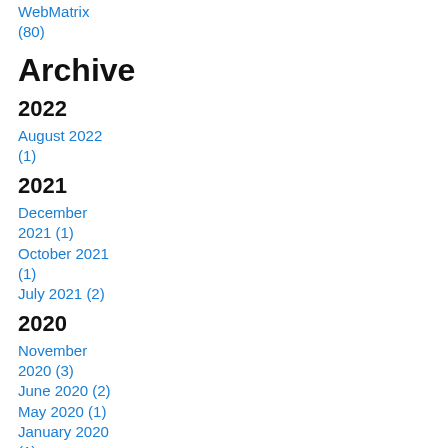WebMatrix (80)
Archive
2022
August 2022 (1)
2021
December 2021 (1)
October 2021 (1)
July 2021 (2)
2020
November 2020 (3)
June 2020 (2)
May 2020 (1)
January 2020 (1)
2019